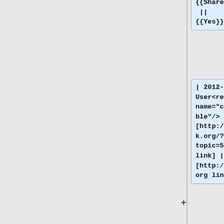{{SharedFees}}
|| || 1.5% || {{Yes}} || {{No}}
| 2012-01-08 || User<ref name="changeable"/> || [http://bitcointalk.org/?topic=57148 link] || [http://mmpool.org link]
|-
| [[P2Pool]] || Global (p2p) || Small || Merged mining can be done on a "solo mining" basis <ref